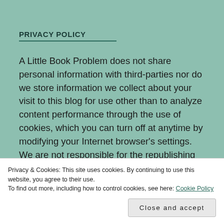PRIVACY POLICY
A Little Book Problem does not share personal information with third-parties nor do we store information we collect about your visit to this blog for use other than to analyze content performance through the use of cookies, which you can turn off at anytime by modifying your Internet browser’s settings. We are not responsible for the republishing of the content found on
Privacy & Cookies: This site uses cookies. By continuing to use this website, you agree to their use.
To find out more, including how to control cookies, see here: Cookie Policy
Close and accept